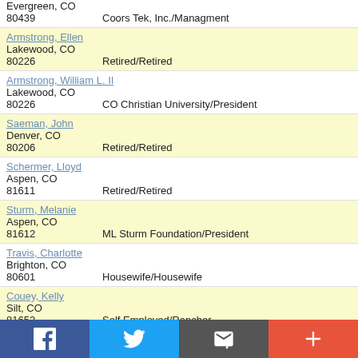Evergreen, CO
80439   Coors Tek, Inc./Managment
Armstrong, Ellen
Lakewood, CO
80226   Retired/Retired
Armstrong, William L. II
Lakewood, CO
80226   CO Christian University/President
Saeman, John
Denver, CO
80206   Retired/Retired
Schermer, Lloyd
Aspen, CO
81611   Retired/Retired
Sturm, Melanie
Aspen, CO
81612   ML Sturm Foundation/President
Travis, Charlotte
Brighton, CO
80601   Housewife/Housewife
Couey, Kelly
Silt, CO
81652   Self Employed/Rancher
Jolley, Brett
New Castle, CO